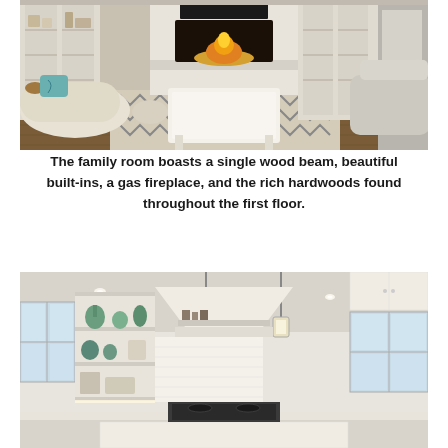[Figure (photo): Interior photo of a family room with white upholstered furniture, a geometric patterned area rug, a white coffee table, built-in shelving with a gas fireplace, and dark hardwood floors.]
The family room boasts a single wood beam, beautiful built-ins, a gas fireplace, and the rich hardwoods found throughout the first floor.
[Figure (photo): Interior photo of a bright white kitchen with open shelving displaying green ceramic items, a large white range hood, pendant lantern lights, white cabinetry, and a large kitchen island.]